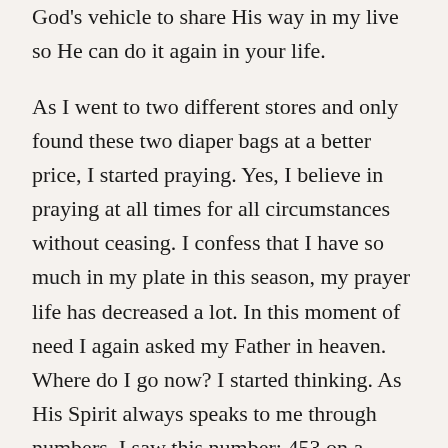God's vehicle to share His way in my live so He can do it again in your life.
As I went to two different stores and only found these two diaper bags at a better price, I started praying. Yes, I believe in praying at all times for all circumstances without ceasing. I confess that I have so much in my plate in this season, my prayer life has decreased a lot. In this moment of need I again asked my Father in heaven. Where do I go now? I started thinking. As His Spirit always speaks to me through numbers, I saw this number: 453 on a license plate. I searched for my bible and their it was, the Word I needed to read to believe that he would provide in these circumstances: